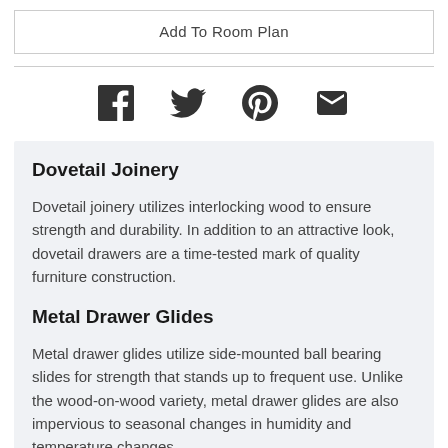Add To Room Plan
[Figure (illustration): Social media sharing icons: Facebook, Twitter, Pinterest, Email]
Dovetail Joinery
Dovetail joinery utilizes interlocking wood to ensure strength and durability. In addition to an attractive look, dovetail drawers are a time-tested mark of quality furniture construction.
Metal Drawer Glides
Metal drawer glides utilize side-mounted ball bearing slides for strength that stands up to frequent use. Unlike the wood-on-wood variety, metal drawer glides are also impervious to seasonal changes in humidity and temperature changes.